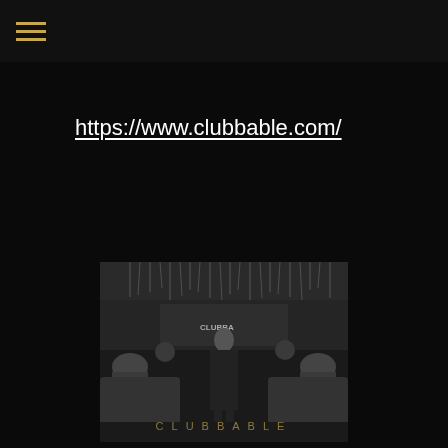navigation menu icon
https://www.clubbable.com/
[Figure (photo): Black and white photo of a man in a suit standing in a luxury nightclub lounge, with other guests seated around him. The word CLUBBABLE appears overlaid at the bottom of the image in gold/white letters.]